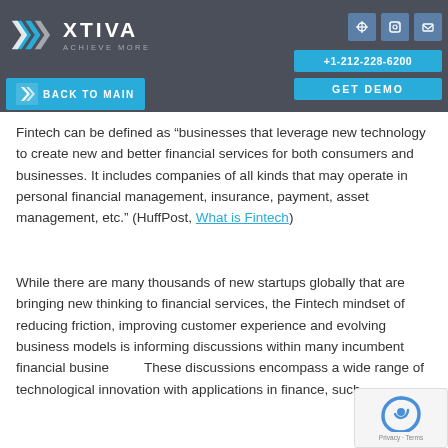[Figure (logo): Xtiva logo with chevron icon and tagline 'ACHIEVE MORE' on dark grey header background]
+1-212-228-6200 | GET DEMO | BACK TO MAIN
Fintech can be defined as “businesses that leverage new technology to create new and better financial services for both consumers and businesses. It includes companies of all kinds that may operate in personal financial management, insurance, payment, asset management, etc.” (HuffPost, What is Fintech)
While there are many thousands of new startups globally that are bringing new thinking to financial services, the Fintech mindset of reducing friction, improving customer experience and evolving business models is informing discussions within many incumbent financial businesses. These discussions encompass a wide range of technological innovation with applications in finance, such